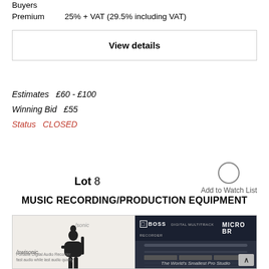Buyers Premium  25% + VAT (29.5% including VAT)
View details
Estimates  £60 - £100
Winning Bid  £55
Status  CLOSED
Lot 8
Add to Watch List
MUSIC RECORDING/PRODUCTION EQUIPMENT
[Figure (photo): Photo of two product boxes: a Swisonic portable digital audio recorder box on the left (showing guitar player silhouette) and a Boss Micro BR digital recorder box on the right (dark background with device image)]